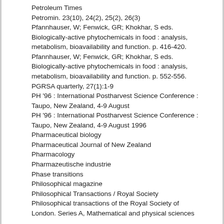Petroleum Times
Petromin. 23(10), 24(2), 25(2), 26(3)
Pfannhauser, W; Fenwick, GR; Khokhar, S eds. Biologically-active phytochemicals in food : analysis, metabolism, bioavailability and function. p. 416-420.
Pfannhauser, W; Fenwick, GR; Khokhar, S eds. Biologically-active phytochemicals in food : analysis, metabolism, bioavailability and function. p. 552-556.
PGRSA quarterly, 27(1):1-9
PH '96 : International Postharvest Science Conference : Taupo, New Zealand, 4-9 August
PH '96 : International Postharvest Science Conference : Taupo, New Zealand, 4-9 August 1996
Pharmaceutical biology
Pharmaceutical Journal of New Zealand
Pharmacology
Pharmazeutische industrie
Phase transitions
Philosophical magazine
Philosophical Transactions / Royal Society
Philosophical transactions of the Royal Society of London. Series A, Mathematical and physical sciences